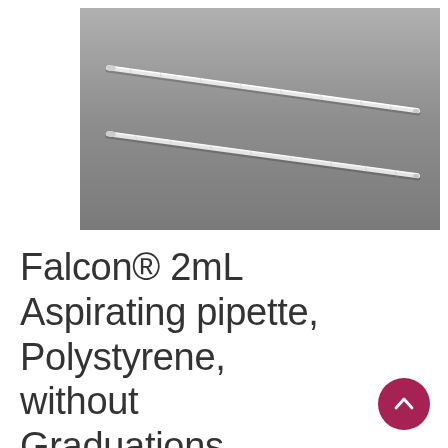[Figure (photo): Two white polystyrene aspirating pipettes (thin long tubes) lying diagonally on a gray background, photographed from above.]
Falcon® 2mL Aspirating pipette, Polystyrene, without Graduations,